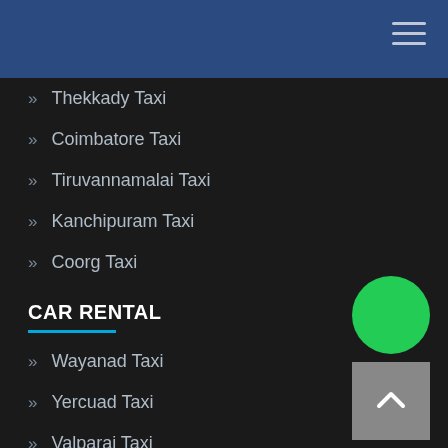Thekkady Taxi
Coimbatore Taxi
Tiruvannamalai Taxi
Kanchipuram Taxi
Coorg Taxi
CAR RENTAL
Wayanad Taxi
Yercuad Taxi
Valparai Taxi
Sabarimala Taxi
Nagercoil Taxi
Topslip Taxi
Thoothukudi Taxi